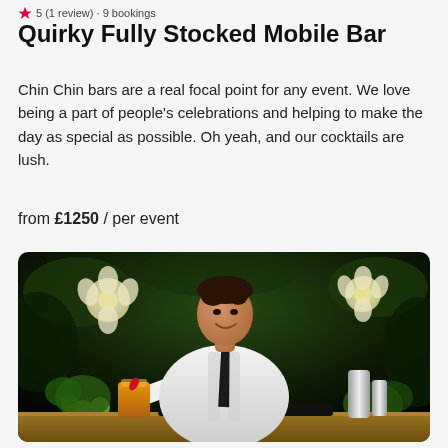5 (1 review) · 9 bookings
Quirky Fully Stocked Mobile Bar
Chin Chin bars are a real focal point for any event. We love being a part of people's celebrations and helping to make the day as special as possible. Oh yeah, and our cocktails are lush.
from £1250 / per event
[Figure (photo): A bartender in a white shirt and dark tie smiles behind a bar setup with cocktail shakers, a cocktail glass, and greenery, set against a dark leafy background with white flowers.]